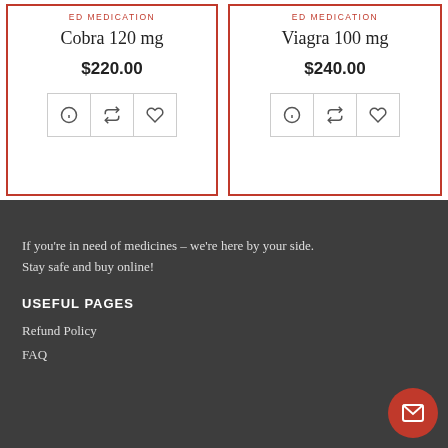ED MEDICATION
Cobra 120 mg
$220.00
ED MEDICATION
Viagra 100 mg
$240.00
If you’re in need of medicines – we’re here by your side. Stay safe and buy online!
USEFUL PAGES
Refund Policy
FAQ